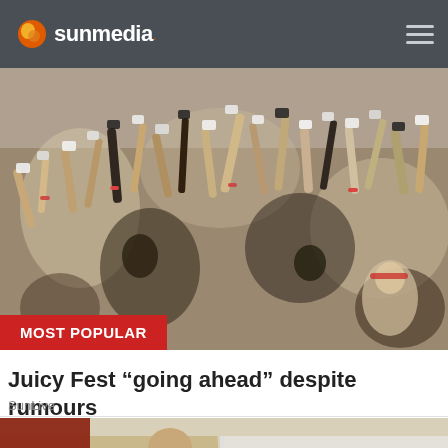sunmedia
[Figure (photo): Large crowd of festival-goers holding up smartphones and cameras to take photos, with arms raised overhead. Outdoor daytime event.]
Juicy Fest “going ahead” despite rumours
SunLive
[Figure (photo): Person painting a wall with a paint roller, seen from behind, rolling white paint onto a beige/tan wall.]